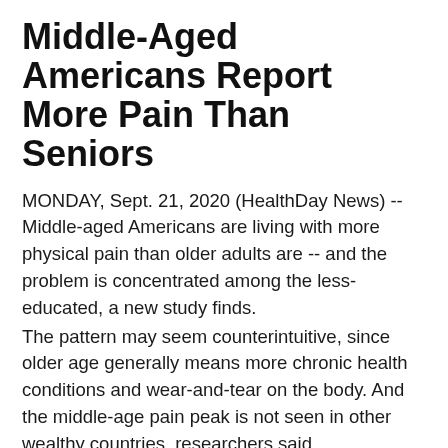Middle-Aged Americans Report More Pain Than Seniors
MONDAY, Sept. 21, 2020 (HealthDay News) -- Middle-aged Americans are living with more physical pain than older adults are -- and the problem is concentrated among the less-educated, a new study finds.
The pattern may seem counterintuitive, since older age generally means more chronic health conditions and wear-and-tear on the body. And the middle-age pain peak is not seen in other wealthy countries, researchers said.
But as in other areas of health, there seems to be a dividing line among Americans, the study found. It's relatively less-educated people who are reporting